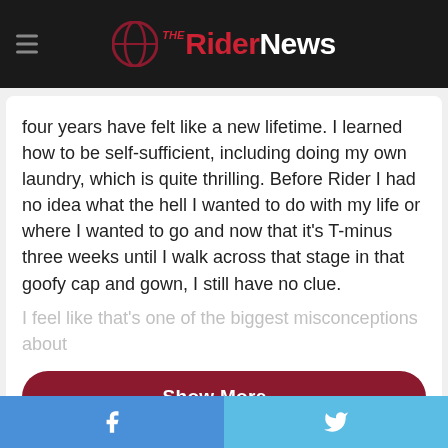The Rider News
four years have felt like a new lifetime. I learned how to be self-sufficient, including doing my own laundry, which is quite thrilling. Before Rider I had no idea what the hell I wanted to do with my life or where I wanted to go and now that it's T-minus three weeks until I walk across that stage in that goofy cap and gown, I still have no clue.
I feel like that's one of the biggest misconceptions about
[Figure (screenshot): Show More button with chevron, dark red/crimson rounded rectangle]
[Figure (screenshot): Gray placeholder content area in white card]
[Figure (screenshot): Social sharing bar with Facebook and Twitter buttons at bottom]